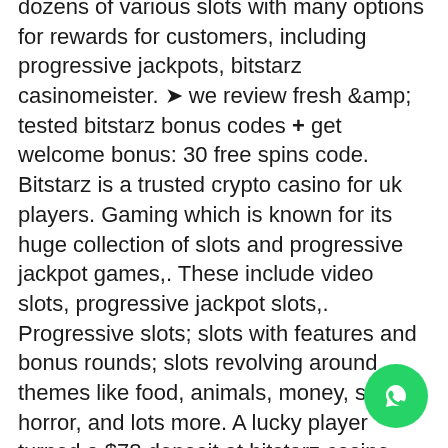dozens of various slots with many options for rewards for customers, including progressive jackpots, bitstarz casinomeister. ➤ we review fresh &amp;amp; tested bitstarz bonus codes + get welcome bonus: 30 free spins code. Bitstarz is a trusted crypto casino for uk players. Gaming which is known for its huge collection of slots and progressive jackpot games,. These include video slots, progressive jackpot slots,. Progressive slots; slots with features and bonus rounds; slots revolving around themes like food, animals, money, sports, horror, and lots more. A lucky player turned a $78 deposit at bitstarz casino into a $93000 win playing the wolf gold local progressive video slot developed by  The device embedded blockchain registers play history and even records individual ownership of rare gameplay accessories like characters. Industry impact: The blockchain-enabled PlayTable is still in testing mode available for pre-order. Once in production,
[Figure (other): WhatsApp contact button (green circle with chat icon) in the bottom-right corner]